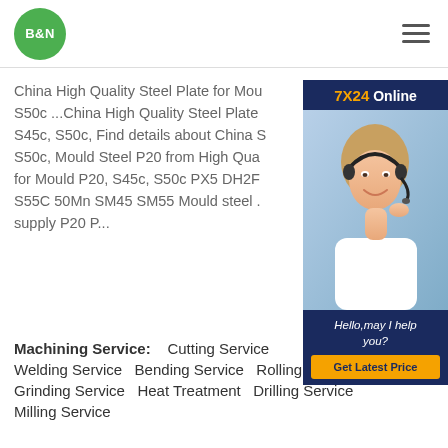B&N
[Figure (photo): Customer service representative wearing a headset, smiling. Online chat widget with '7X24 Online' header, 'Hello, may I help you?' message and 'Get Latest Price' button.]
China High Quality Steel Plate for Mould P20, S50c ...China High Quality Steel Plate for Mould P20, S45c, S50c, Find details about China S50c, Mould Steel P20 from High Quality Steel Plate for Mould P20, S45c, S50c PX5 DH2F S55C 50Mn SM45 SM55 Mould steel ... supply P20 P...
Machining Service: Cutting Service Welding Service Bending Service Rolling Service Grinding Service Heat Treatment Drilling Service Milling Service